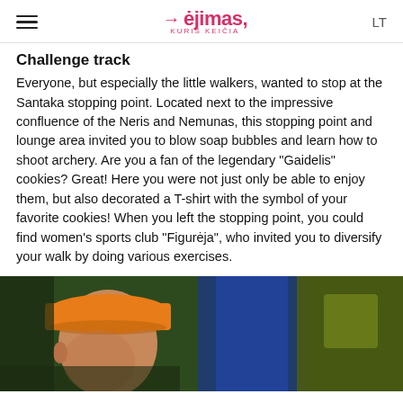≡  >ėjimas, KURIS KEIČIA  LT
Challenge track
Everyone, but especially the little walkers, wanted to stop at the Santaka stopping point. Located next to the impressive confluence of the Neris and Nemunas, this stopping point and lounge area invited you to blow soap bubbles and learn how to shoot archery. Are you a fan of the legendary "Gaidelis" cookies? Great! Here you were not just only be able to enjoy them, but also decorated a T-shirt with the symbol of your favorite cookies! When you left the stopping point, you could find women's sports club "Figurėja", who invited you to diversify your walk by doing various exercises.
[Figure (photo): Person wearing an orange cap, with a blue banner and green blurred background visible]